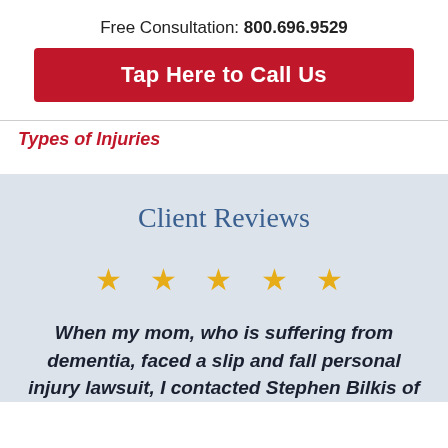Free Consultation: 800.696.9529
Tap Here to Call Us
Types of Injuries
Client Reviews
★ ★ ★ ★ ★
When my mom, who is suffering from dementia, faced a slip and fall personal injury lawsuit, I contacted Stephen Bilkis of